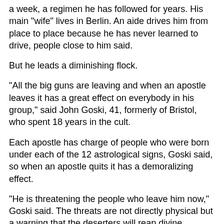a week, a regimen he has followed for years. His main "wife" lives in Berlin. An aide drives him from place to place because he has never learned to drive, people close to him said.
But he leads a diminishing flock.
"All the big guns are leaving and when an apostle leaves it has a great effect on everybody in his group," said John Goski, 41, formerly of Bristol, who spent 18 years in the cult.
Each apostle has charge of people who were born under each of the 12 astrological signs, Goski said, so when an apostle quits it has a demoralizing effect.
"He is threatening the people who leave him now," Goski said. The threats are not directly physical but a warning that the deserters will reap divine retribution.
"When I came out he threatened me. He said things like, `One of your kids may die.' Getting the courage to leave is the real miracle," said Goski, who joined Schacknow as a 20-